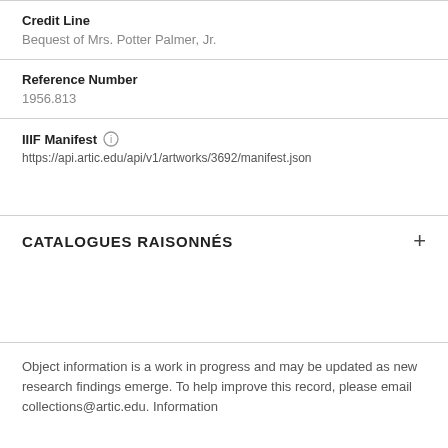Credit Line
Bequest of Mrs. Potter Palmer, Jr.
Reference Number
1956.813
IIIF Manifest
https://api.artic.edu/api/v1/artworks/3692/manifest.json
CATALOGUES RAISONNÉS
Object information is a work in progress and may be updated as new research findings emerge. To help improve this record, please email collections@artic.edu. Information